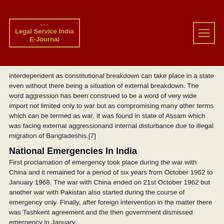Legal Service India E-Journal
interdependent as constitutional breakdown can take place in a state even without there being a situation of external breakdown. The word aggression has been construed to be a word of very wide import not limited only to war but as compromising many other terms which can be termed as war. It was found in state of Assam which was facing external aggressionand internal disturbance due to illegal migration of Bangladeshis.[7]
National Emergencies In India
First proclamation of emergency took place during the war with China and it remained for a period of six years from October 1962 to January 1968. The war with China ended on 21st October 1962 but another war with Pakistan also started during the course of emergency only. Finally, after foreign intervention in the matter there was Tashkent agreement and the then government dismissed emergency in January.